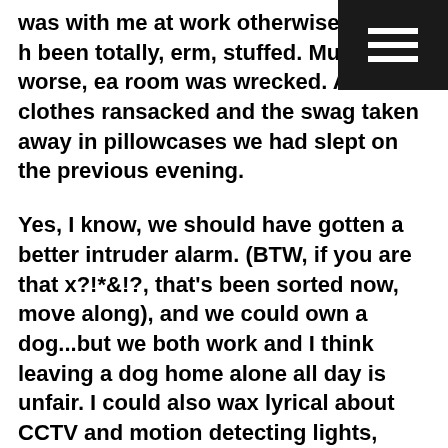was with me at work otherwise I would been totally, erm, stuffed. Much worse, each room was wrecked. All of the clothes ransacked and the swag taken away in pillowcases we had slept on the previous evening.
Yes, I know, we should have gotten a better intruder alarm. (BTW, if you are that x?!*&!?, that's been sorted now, move along), and we could own a dog...but we both work and I think leaving a dog home alone all day is unfair. I could also wax lyrical about CCTV and motion detecting lights, state-of-the-art locks and conning towers and machine guns but where there is a will there is a way and the ?!*&!? would still have taken our stuff.
Now anyone who knows me also knows that I despise the victim culture that is prevalent in today's society so, although I can justifiable